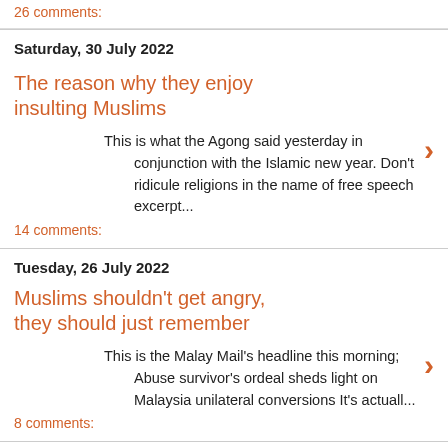26 comments:
Saturday, 30 July 2022
The reason why they enjoy insulting Muslims
This is what the Agong said yesterday in conjunction with the Islamic new year. Don't ridicule religions in the name of free speech excerpt...
14 comments:
Tuesday, 26 July 2022
Muslims shouldn't get angry, they should just remember
This is the Malay Mail's headline this morning; Abuse survivor's ordeal sheds light on Malaysia unilateral conversions It's actuall...
8 comments:
Thursday, 21 July 2022
A good Sabah politician